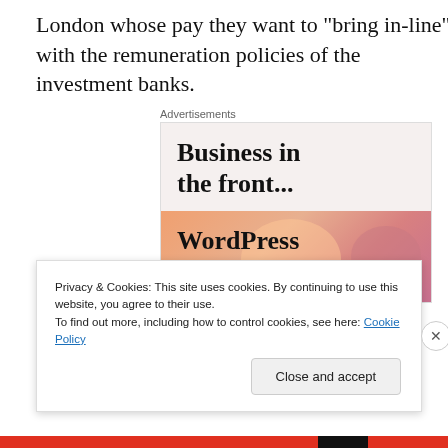London whose pay they want to "bring in-line" with the remuneration policies of the investment banks.
[Figure (screenshot): Advertisement banner showing 'Business in the front...' text on light background above and 'WordPress in the back.' text on orange/pink gradient background below, with 'Advertisements' label at top.]
Privacy & Cookies: This site uses cookies. By continuing to use this website, you agree to their use.
To find out more, including how to control cookies, see here: Cookie Policy
Close and accept